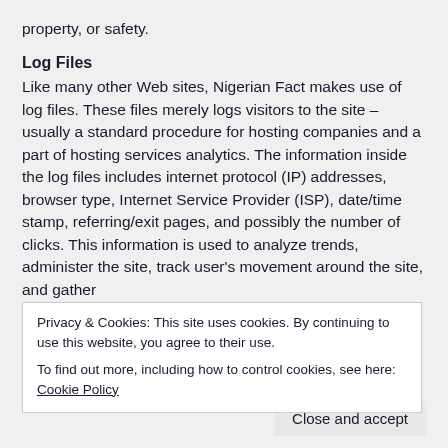property, or safety.
Log Files
Like many other Web sites, Nigerian Fact makes use of log files. These files merely logs visitors to the site – usually a standard procedure for hosting companies and a part of hosting services analytics. The information inside the log files includes internet protocol (IP) addresses, browser type, Internet Service Provider (ISP), date/time stamp, referring/exit pages, and possibly the number of clicks. This information is used to analyze trends, administer the site, track user's movement around the site, and gather
Privacy & Cookies: This site uses cookies. By continuing to use this website, you agree to their use.
To find out more, including how to control cookies, see here: Cookie Policy
Close and accept
visitors' preferences, to record user-specific information on which pages the site visitor accesses or visits, and to